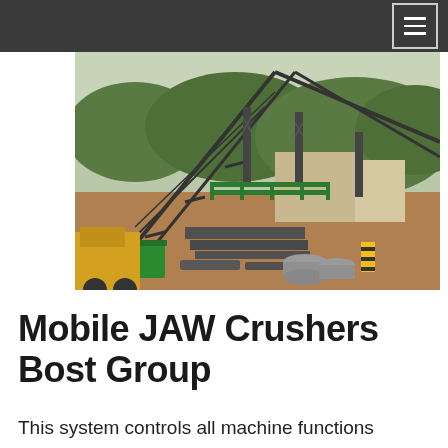☰
[Figure (photo): Industrial construction site showing large conveyor belt structures on steel frames, with scattered steel beams and construction materials on the ground. A green bin and yellow machinery are visible in the foreground. Background shows trees and hilly terrain.]
Mobile JAW Crushers Bost Group
This system controls all machine functions including moving parts active feeder The range of